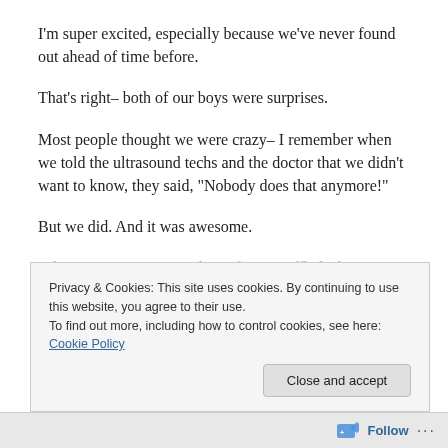I'm super excited, especially because we've never found out ahead of time before.
That's right– both of our boys were surprises.
Most people thought we were crazy– I remember when we told the ultrasound techs and the doctor that we didn't want to know, they said, “Nobody does that anymore!”
But we did. And it was awesome.
When I was pregnant with my first I waffled a bit between
Privacy & Cookies: This site uses cookies. By continuing to use this website, you agree to their use.
To find out more, including how to control cookies, see here: Cookie Policy
Close and accept
Follow